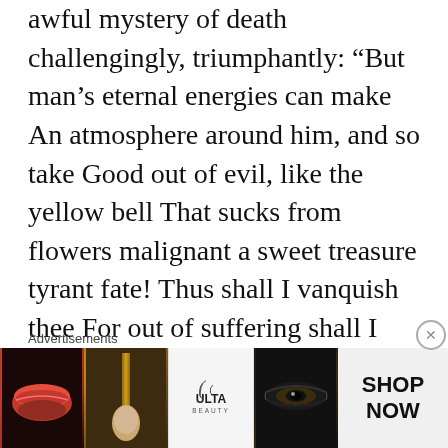awful mystery of death challengingly, triumphantly: “But man’s eternal energies can make An atmosphere around him, and so take Good out of evil, like the yellow bell That sucks from flowers malignant a sweet treasure tyrant fate! Thus shall I vanquish thee For out of suffering shall I gather pleasure.”
The intensity of feeling expressed in The Harp Of India and the poet’s firm conviction that his India will one day regain her past glory, leave readers in no doubt
[Figure (photo): Ulta Beauty advertisement banner showing close-up beauty images (lips with red lipstick, makeup brush, eyes with dramatic eye makeup, Ulta logo) with 'SHOP NOW' text on right side]